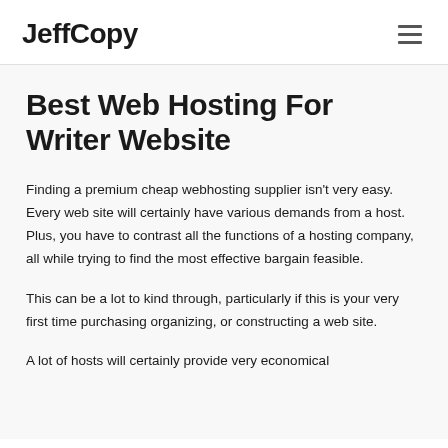JeffCopy
Best Web Hosting For Writer Website
Finding a premium cheap webhosting supplier isn't very easy. Every web site will certainly have various demands from a host. Plus, you have to contrast all the functions of a hosting company, all while trying to find the most effective bargain feasible.
This can be a lot to kind through, particularly if this is your very first time purchasing organizing, or constructing a web site.
A lot of hosts will certainly provide very economical